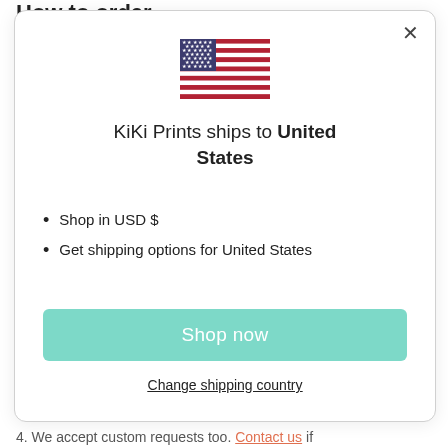How to order
[Figure (illustration): US flag SVG illustration]
KiKi Prints ships to United States
Shop in USD $
Get shipping options for United States
Shop now
Change shipping country
4. We accept custom requests too. Contact us if